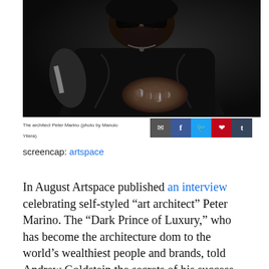[Figure (photo): Dark moody photograph of architect Peter Marino wearing black leather jacket, sunglasses, and ornate rings, photographed by Manolo Yllera]
The architect Peter Marino (photo by Manolo Yllera)
screencap: artspace
In August Artspace published an interview celebrating self-styled “art architect” Peter Marino. The “Dark Prince of Luxury,” who has become the architecture dom to the world’s wealthiest people and brands, told Andrew Goldstein the secrets of his success and career